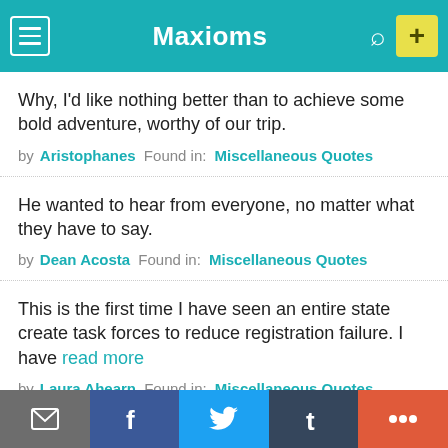Maxioms
Why, I'd like nothing better than to achieve some bold adventure, worthy of our trip.
by Aristophanes  Found in: Miscellaneous Quotes
He wanted to hear from everyone, no matter what they have to say.
by Dean Acosta  Found in: Miscellaneous Quotes
This is the first time I have seen an entire state create task forces to reduce registration failure. I have read more
by Laura Ahearn  Found in: Miscellaneous Quotes
email facebook twitter tumblr +